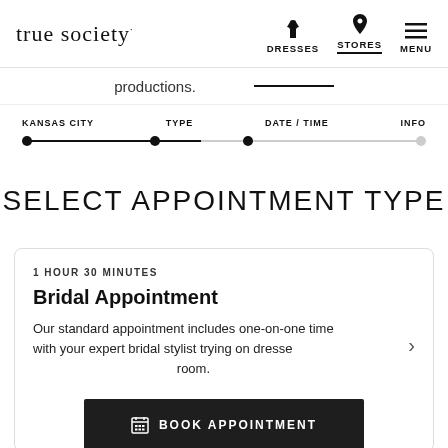true society — DRESSES STORES MENU
productions.
KANSAS CITY   TYPE   DATE / TIME   INFO
SELECT APPOINTMENT TYPE
1 HOUR 30 MINUTES
Bridal Appointment
Our standard appointment includes one-on-one time with your expert bridal stylist trying on dresses in your private bridal suite fitting room.
BOOK APPOINTMENT